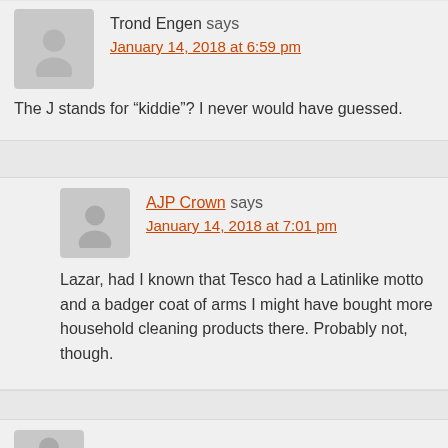Trond Engen says
January 14, 2018 at 6:59 pm
The J stands for “kiddie”? I never would have guessed.
AJP Crown says
January 14, 2018 at 7:01 pm
Lazar, had I known that Tesco had a Latinlike motto and a badger coat of arms I might have bought more household cleaning products there. Probably not, though.